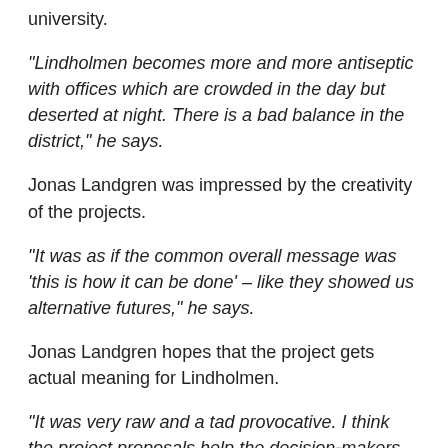university.
“Lindholmen becomes more and more antiseptic with offices which are crowded in the day but deserted at night. There is a bad balance in the district,” he says.
Jonas Landgren was impressed by the creativity of the projects.
“It was as if the common overall message was ‘this is how it can be done’ – like they showed us alternative futures,” he says.
Jonas Landgren hopes that the project gets actual meaning for Lindholmen.
“It was very raw and a tad provocative. I think the project proposals help the decision-makers make the process more open,” says Jonas Landgren.